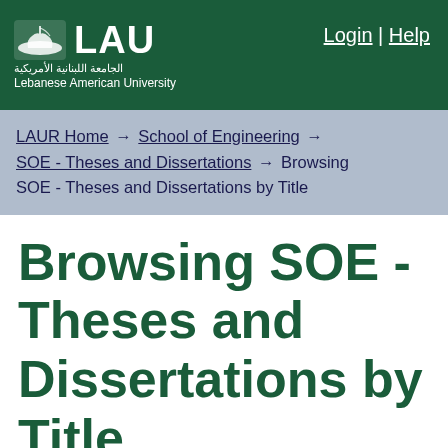LAU Lebanese American University | Login | Help
LAUR Home → School of Engineering → SOE - Theses and Dissertations → Browsing SOE - Theses and Dissertations by Title
Browsing SOE - Theses and Dissertations by Title
0-9 A B C D E F G H I J K L M N O P Q R ...